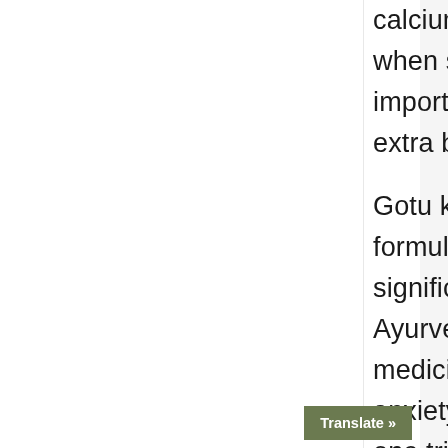calcium stores deplete when stress hits, it is important to provide an extra buffer. Gotu kola is also in this formulation. It has a significant history in Ayurvedic and Chinese medicine as a treatment for anxiety and depression. In one trial, 40 people were split into two groups, one receiving 12g gotu kola, and the other